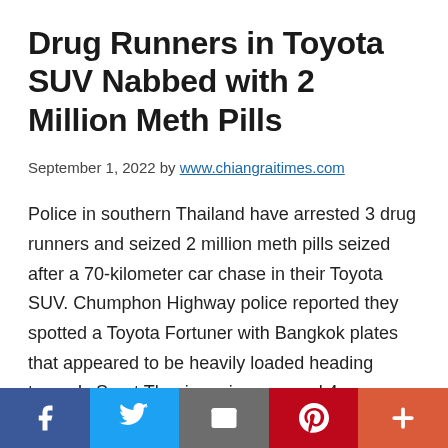Drug Runners in Toyota SUV Nabbed with 2 Million Meth Pills
September 1, 2022 by www.chiangraitimes.com
Police in southern Thailand have arrested 3 drug runners and seized 2 million meth pills seized after a 70-kilometer car chase in their Toyota SUV. Chumphon Highway police reported they spotted a Toyota Fortuner with Bangkok plates that appeared to be heavily loaded heading towards Surat Thani province around 4am on Wednesday morning. The Chumphon highway police reported...